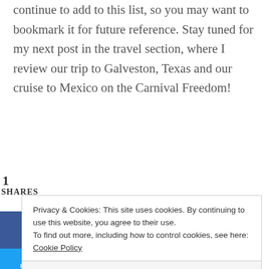continue to add to this list, so you may want to bookmark it for future reference. Stay tuned for my next post in the travel section, where I review our trip to Galveston, Texas and our cruise to Mexico on the Carnival Freedom!
1
SHARES
[Figure (other): Social share buttons: Facebook (blue), Twitter (light blue), Pinterest (red)]
Privacy & Cookies: This site uses cookies. By continuing to use this website, you agree to their use.
To find out more, including how to control cookies, see here: Cookie Policy
Close and accept